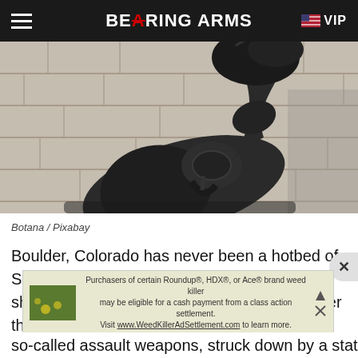BEARING ARMS | VIP
[Figure (photo): Close-up photo of a large bronze sculpture depicting a revolver with its barrel tied in a knot, in front of a stone building facade. Based on the famous 'Non-Violence' sculpture.]
Botana / Pixabay
Boulder, Colorado has never been a hotbed of Second Amendment support, even before a shooting at a King Sooper grocery store earlier this year claimed the lives of ten people. The Berkeley of the Rocky Mountain foothills has long embraced restrictions on the right to
so-called assault weapons, struck down by a state